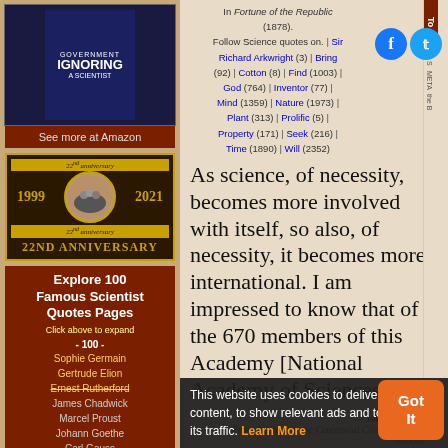[Figure (photo): Book/shirt with text 'GOVERNMENT IGNORING A SCIENTIST' on dark blue background]
See more at Amazon
[Figure (logo): 22nd Anniversary badge with years 1999-2021 and group photo]
Explore 100 Famous Scientist Quotes Pages
Click above to expand
- 100 -
Sophie Germain
Gertrude Elion
Ernest Rutherford
James Chadwick
Marcel Proust
Johann Goethe
Carl Gauss
- 50 -
Antoine Lavoisier
In Fortune of the Republic (1878).
Follow Science quotes on. | Sir Richard Arkwright (3) | Bring (92) | Cotton (8) | Find (1003) | God (764) | Inventor (77) | Mind (1359) | Nature (1973) | Plant (313) | Prolific (5) | Property (171) | Seek (216) | Time (1890) | Will (2352)
As science, of necessity, becomes more involved with itself, so also, of necessity, it becomes more international. I am impressed to know that of the 670 members of this Academy [National Academy of Sciences], its other nations…
— John F. Kennedy
From Address to the Centennial Convocation of the National…
This website uses cookies to deliver its content, to show relevant ads and to analyze its traffic. Learn More